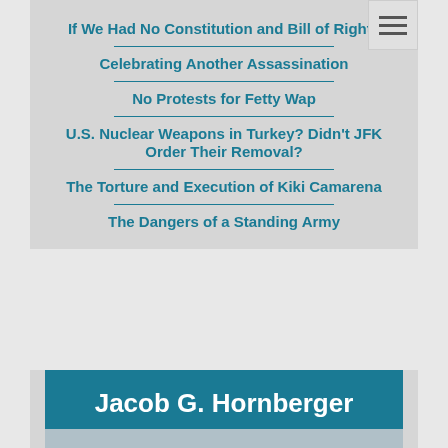If We Had No Constitution and Bill of Rights
Celebrating Another Assassination
No Protests for Fetty Wap
U.S. Nuclear Weapons in Turkey? Didn't JFK Order Their Removal?
The Torture and Execution of Kiki Camarena
The Dangers of a Standing Army
Jacob G. Hornberger